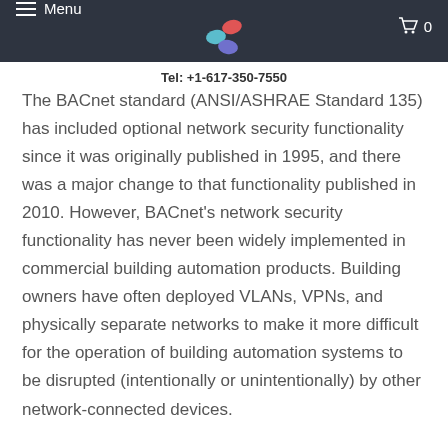Menu | Logo | 0
Tel: +1-617-350-7550
The BACnet standard (ANSI/ASHRAE Standard 135) has included optional network security functionality since it was originally published in 1995, and there was a major change to that functionality published in 2010. However, BACnet’s network security functionality has never been widely implemented in commercial building automation products. Building owners have often deployed VLANs, VPNs, and physically separate networks to make it more difficult for the operation of building automation systems to be disrupted (intentionally or unintentionally) by other network-connected devices.